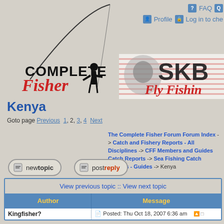[Figure (logo): Complete Fisher logo with silhouette of fisherman, fishing rod, and URL www.completefisher.com]
[Figure (logo): SKB Fly Fishing banner with lion graphic and red handwritten text]
Kenya
Goto page Previous 1, 2, 3, 4 Next
The Complete Fisher Forum Forum Index -> Catch and Fishery Reports - All Disciplines -> CFF Members and Guides Catch Reports -> Sea Fishing Catch Reports - Guides -> Kenya
[Figure (screenshot): New topic button (rounded rectangle with icon)]
[Figure (screenshot): Post reply button (rounded rectangle with icon)]
| Author | Message |
| --- | --- |
| Kingfisher? | Posted: Thu Oct 18, 2007 6:36 am |